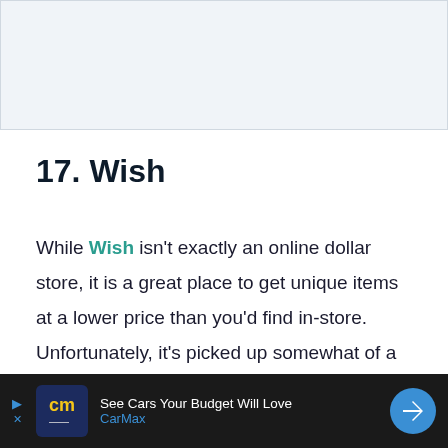[Figure (other): Gray/light blue rectangular image area at the top of the page]
17. Wish
While Wish isn't exactly an online dollar store, it is a great place to get unique items at a lower price than you'd find in-store. Unfortunately, it's picked up somewhat of a reputation for unreliable
[Figure (other): CarMax advertisement banner: 'See Cars Your Budget Will Love' with CarMax logo and navigation arrow icon]